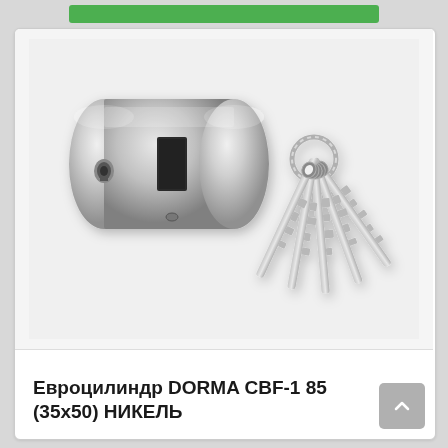[Figure (photo): Product photo of a nickel-finished door lock euro cylinder (DORMA CBF-1 85, 35x50) next to five keys on a key ring, on a light gray background.]
Евроцилиндр DORMA CBF-1 85 (35x50) НИКЕЛЬ